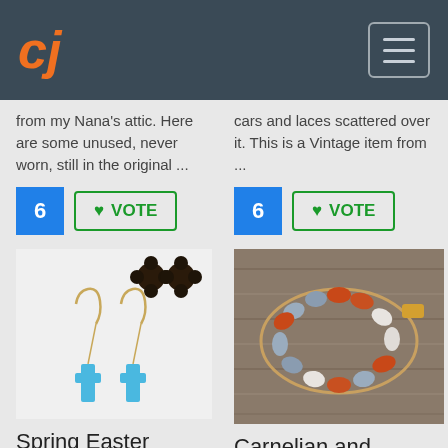CJ [logo] [hamburger menu]
from my Nana's attic. Here are some unused, never worn, still in the original ...
cars and laces scattered over it. This is a Vintage item from ...
6 VOTE
6 VOTE
[Figure (photo): Spring Easter Turquoise Cross Earrings product photo showing gold wire earrings with turquoise cross pendants, and two dark flower-shaped stud earrings on a white background]
[Figure (photo): Carnelian and Adventurine Gemstone bracelet photo showing a beaded bracelet with orange carnelian, blue adventurine, and white oval beads on a wooden surface]
Spring Easter Turquoise Cross Earrings
Carnelian and Adventurine Gemstone